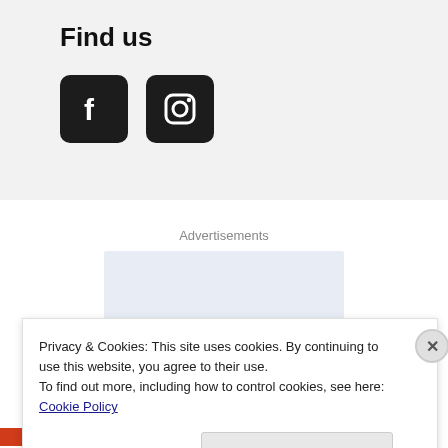Find us
[Figure (illustration): Facebook and Instagram social media icons (dark rounded squares with white logos)]
Advertisements
[Figure (other): Advertisement placeholder - light blue-grey rectangle]
Privacy & Cookies: This site uses cookies. By continuing to use this website, you agree to their use.
To find out more, including how to control cookies, see here: Cookie Policy
Close and accept